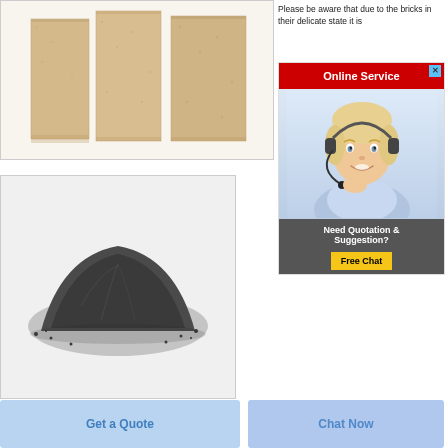[Figure (photo): Three rectangular fire brick or MDF panels standing upright, light beige/tan color]
Please be aware that due to the bricks in their delicate state it is
[Figure (infographic): Online Service widget with red header, close button (X), photo of smiling blonde woman with headset, dark footer with 'Need Quotation & Suggestion?' text and yellow Free Chat button]
[Figure (photo): A pile of dark grey/black powder (likely carbon or graphite powder) on white background]
Get a Quote
Chat Now